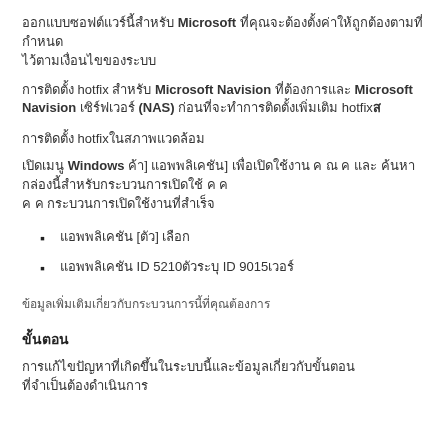ออกแบบซอฟต์แวร์นี้สำหรับ Microsoft ที่คุณจะต้องตั้งค่าให้ถูกต้องตามที่กำหนด
การติดตั้ง hotfix สำหรับ Microsoft Navision ที่ต้องการและ Microsoft Navision เซิร์ฟเวอร์ (NAS) ก่อนที่จะทำการติดตั้งเพิ่มเติม hotfix
การติดตั้ง hotfixในสภาพแวดล้อม
เปิดเมนู Windows ค้า] แอพพลิเคชัน] เพื่อเปิดใช้งาน ค ณ ค และ ค้นหากล่องนี้สำหรับกระบวนการเปิดใช้ ค ค ค ค กระบวนการเปิดใช้งานที่สำเร็จ
แอพพลิเคชัน [ตัว] เลือก
แอพพลิเคชัน ID 5210ตัวระบุ ID 9015เวอร์
ข้อมูลเพิ่มเติมเกี่ยวกับกระบวนการนี้
ขั้นตอน
การแก้ไขปัญหาที่เกิดขึ้นในระบบนี้และข้อมูลเบื้องต้น